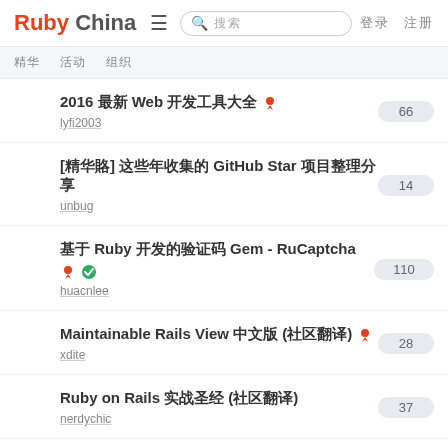Ruby China ≡ 搜索 登录 注册
精华 活动 组织
2016 最新 Web 开发工具大全 🔴  lyfi2003  66
[精华帖] 这些年收集的 GitHub Star 项目整理分享  unbug  14
基于 Ruby 开发的验证码 Gem - RuCaptcha 🔴 ✅  huacnlee  110
Maintainable Rails View 中文版 (社区翻译) 🔴  xdite  28
Ruby on Rails 实战圣经 (社区翻译)  nerdychic  37